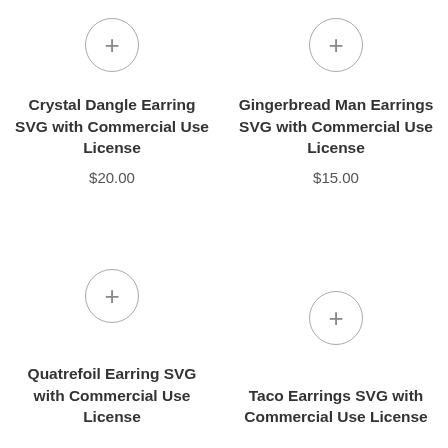[Figure (other): Plus icon button (circle with + symbol) for Crystal Dangle Earring product]
Crystal Dangle Earring SVG with Commercial Use License
$20.00
[Figure (other): Plus icon button (circle with + symbol) for Gingerbread Man Earrings product]
Gingerbread Man Earrings SVG with Commercial Use License
$15.00
[Figure (other): Plus icon button (circle with + symbol) for Quatrefoil Earring product]
Quatrefoil Earring SVG with Commercial Use License
[Figure (other): Plus icon button (circle with + symbol) for Taco Earrings product]
Taco Earrings SVG with Commercial Use License